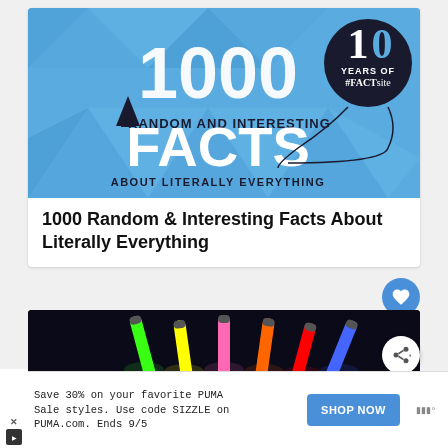[Figure (illustration): Blue geometric triangle patterned banner reading '1000 RANDOM AND INTERESTING FACTS ABOUT LITERALLY EVERYTHING' with '10 YEARS OF #FACTsite' balloon graphic]
1000 Random & Interesting Facts About Literally Everything
[Figure (photo): Dark background photo of colorful glowing glow sticks (green, yellow, pink, red, blue colors)]
Save 30% on your favorite PUMA Sale styles. Use code SIZZLE on PUMA.com. Ends 9/5